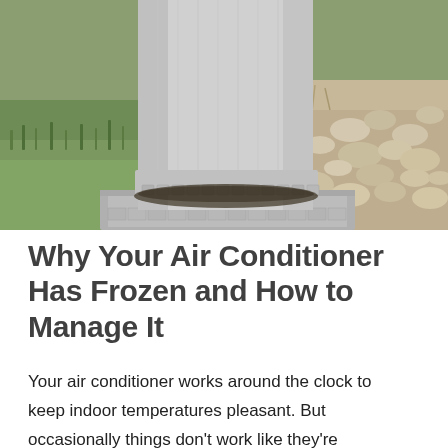[Figure (photo): Close-up photo of the bottom of a cylindrical outdoor air conditioner unit with a grey cover/wrap, sitting on a concrete pad, surrounded by grass on the left and rocks/gravel on the right.]
Why Your Air Conditioner Has Frozen and How to Manage It
Your air conditioner works around the clock to keep indoor temperatures pleasant. But occasionally things don't work like they're